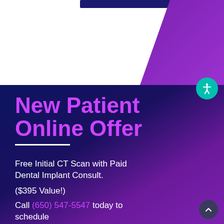New Patient Online Offer
Free Initial CT Scan with Paid Dental Implant Consult.
($395 Value!)
Call (650) 547-5547 today to schedule